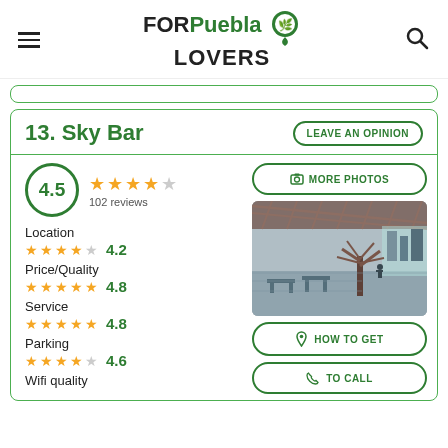FOR Puebla LOVERS
13. Sky Bar
4.5 — 102 reviews
Location 4.2
Price/Quality 4.8
Service 4.8
Parking 4.6
Wifi quality
[Figure (photo): Interior photo of Sky Bar rooftop venue with wooden lattice ceiling, decorative tree, and cityscape view]